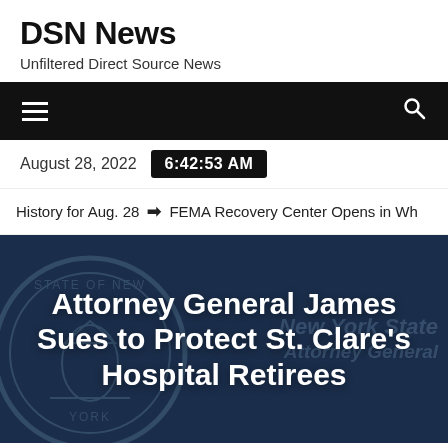DSN News
Unfiltered Direct Source News
[Figure (screenshot): Black navigation bar with hamburger menu icon on left and search icon on right]
August 28, 2022  6:42:53 AM
History for Aug. 28   ❯  FEMA Recovery Center Opens in Wh
Attorney General James Sues to Protect St. Clare's Hospital Retirees